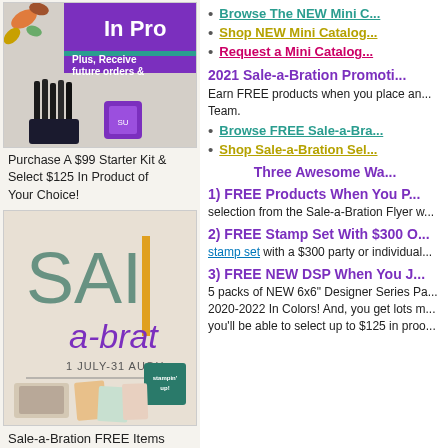[Figure (illustration): Starter Kit promotional image with text 'In Product' and 'Plus, Receive future orders &' with colored pencils and crafting supplies]
Purchase A $99 Starter Kit & Select $125 In Product of Your Choice!
[Figure (illustration): Sale-a-Bration promotional image with text 'SAL a-brat 1 JULY-31 AUGU' and Stampin' Up! branding with craft supplies]
Sale-a-Bration FREE Items
Browse The NEW Mini C...
Shop NEW Mini Catalog...
Request a Mini Catalog...
2021 Sale-a-Bration Promoti...
Earn FREE products when you place an... Team.
Browse FREE Sale-a-Bra...
Shop Sale-a-Bration Sel...
Three Awesome Wa...
1) FREE Products When You P...
selection from the Sale-a-Bration Flyer w...
2) FREE Stamp Set With $300 O...
stamp set with a $300 party or individual...
3) FREE NEW DSP When You J...
5 packs of NEW 6x6" Designer Series Pa... 2020-2022 In Colors! And, you get lots m... you'll be able to select up to $125 in proo...